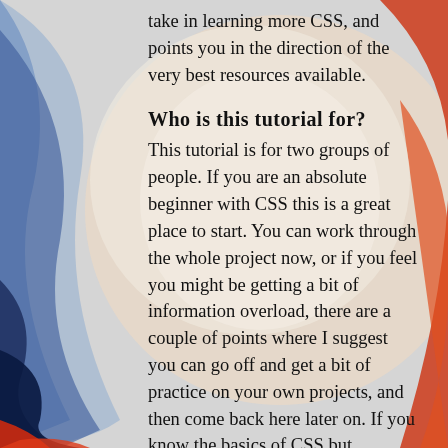[Figure (illustration): Decorative background with blue, white, and red/orange swirling circular shapes forming an abstract design behind the text content.]
take in learning more CSS, and points you in the direction of the very best resources available.
Who is this tutorial for?
This tutorial is for two groups of people. If you are an absolute beginner with CSS this is a great place to start. You can work through the whole project now, or if you feel you might be getting a bit of information overload, there are a couple of points where I suggest you can go off and get a bit of practice on your own projects, and then come back here later on. If you know the basics of CSS but